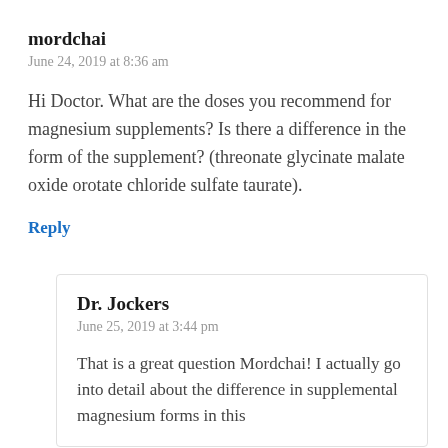mordchai
June 24, 2019 at 8:36 am
Hi Doctor. What are the doses you recommend for magnesium supplements? Is there a difference in the form of the supplement? (threonate glycinate malate oxide orotate chloride sulfate taurate).
Reply
Dr. Jockers
June 25, 2019 at 3:44 pm
That is a great question Mordchai! I actually go into detail about the difference in supplemental magnesium forms in this